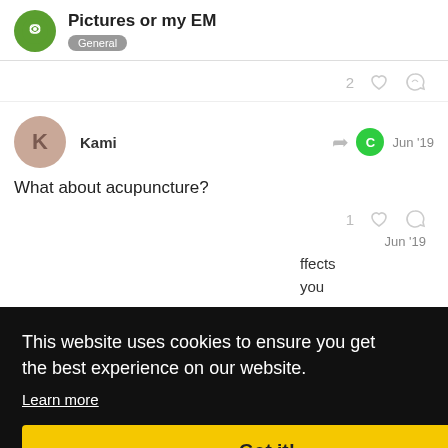Pictures or my EM — General
2 [like] [link]
Kami Jun '19
What about acupuncture?
1 [like] [link]
Jun '19
This website uses cookies to ensure you get the best experience on our website. Learn more Got it!